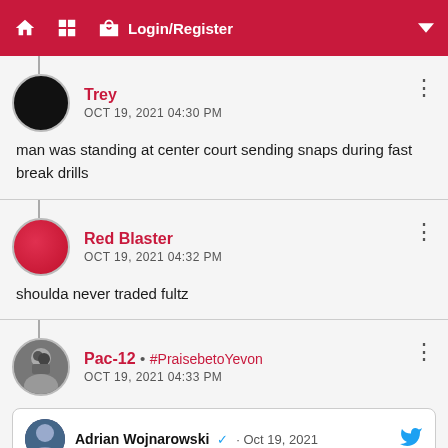Login/Register
Trey
OCT 19, 2021 04:30 PM
man was standing at center court sending snaps during fast break drills
Red Blaster
OCT 19, 2021 04:32 PM
shoulda never traded fultz
Pac-12 • #PraisebetoYevon
OCT 19, 2021 04:33 PM
Adrian Wojnarowski · Oct 19, 2021